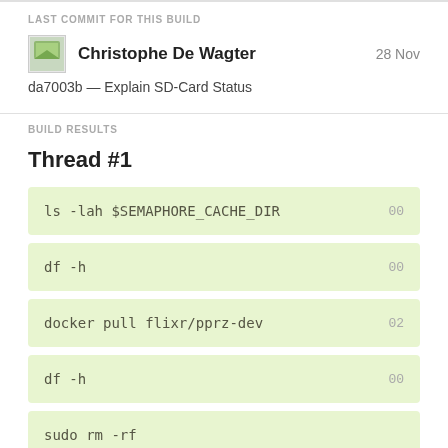LAST COMMIT FOR THIS BUILD
Christophe De Wagter — 28 Nov
da7003b — Explain SD-Card Status
BUILD RESULTS
Thread #1
ls -lah $SEMAPHORE_CACHE_DIR  00
df -h  00
docker pull flixr/pprz-dev  02
df -h  00
sudo rm -rf